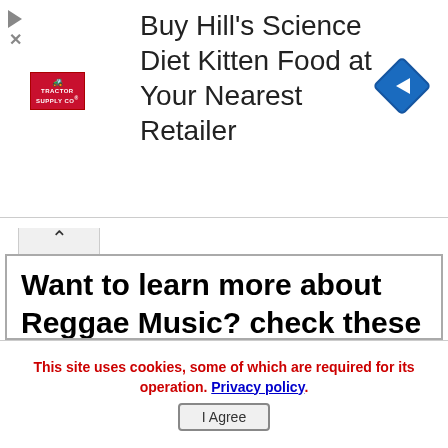[Figure (screenshot): Ad banner for Hill's Science Diet Kitten Food at Tractor Supply Co. with a blue diamond navigation icon.]
Want to learn more about Reggae Music? check these pages below...
Reggae Music and Its Origins
Founding Father of Reggae Music
What Is Reggae Music?
1970s Reggae Music History
Bob Marley & The Wailers
This site uses cookies, some of which are required for its operation. Privacy policy.
I Agree